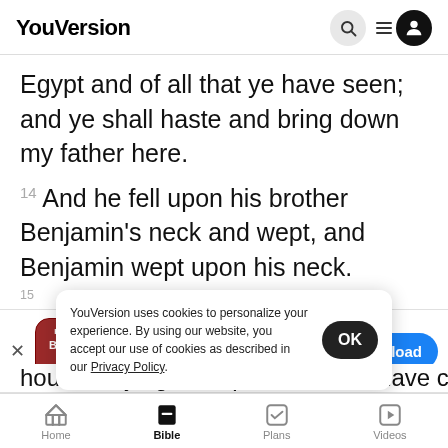YouVersion
Egypt and of all that ye have seen; and ye shall haste and bring down my father here.
14 And he fell upon his brother Benjamin's neck and wept, and Benjamin wept upon his neck.
[Figure (screenshot): App store banner for The Bible App showing a red Holy Bible icon, star rating 7.9M, and a Download button]
16 ¶ A
YouVersion uses cookies to personalize your experience. By using our website, you accept our use of cookies as described in our Privacy Policy.
house, saying, Joseph's brethren have come, and
Home  Bible  Plans  Videos